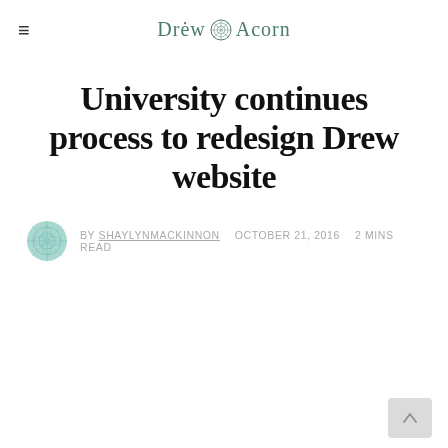Drew Acorn
University continues process to redesign Drew website
BY SHAYLYNMACKINNON   OCTOBER 21, 2016   2 MINS READ